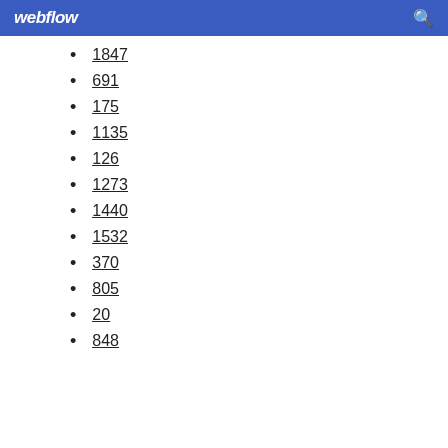webflow
1847
691
175
1135
126
1273
1440
1532
370
805
20
848